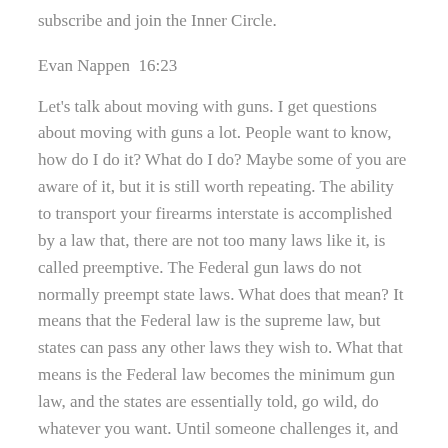subscribe and join the Inner Circle.
Evan Nappen  16:23
Let's talk about moving with guns. I get questions about moving with guns a lot. People want to know, how do I do it? What do I do? Maybe some of you are aware of it, but it is still worth repeating. The ability to transport your firearms interstate is accomplished by a law that, there are not too many laws like it, is called preemptive. The Federal gun laws do not normally preempt state laws. What does that mean? It means that the Federal law is the supreme law, but states can pass any other laws they wish to. What that means is the Federal law becomes the minimum gun law, and the states are essentially told, go wild, do whatever you want. Until someone challenges it, and it is found unconstitutional, the sky is the limit. So, the states can then enact whatever cuts above the rest to become the